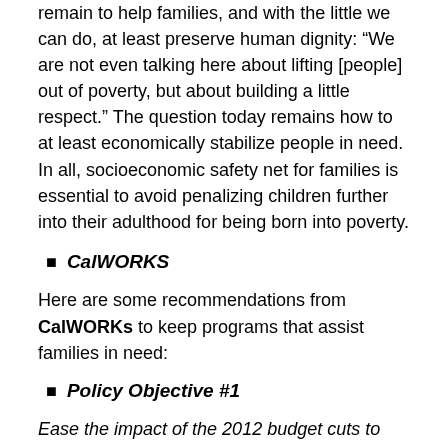remain to help families, and with the little we can do, at least preserve human dignity: “We are not even talking here about lifting [people] out of poverty, but about building a little respect.” The question today remains how to at least economically stabilize people in need. In all, socioeconomic safety net for families is essential to avoid penalizing children further into their adulthood for being born into poverty.
CalWORKS
Here are some recommendations from CalWORKs to keep programs that assist families in need:
Policy Objective #1
Ease the impact of the 2012 budget cuts to CalWORKs and increase grant levels to reduce deep poverty.